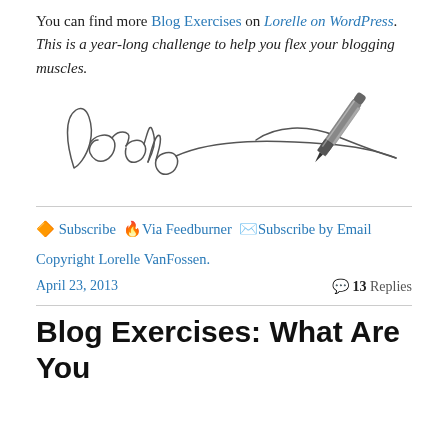You can find more Blog Exercises on Lorelle on WordPress. This is a year-long challenge to help you flex your blogging muscles.
[Figure (illustration): Handwritten cursive signature reading 'Lorelle' with a long pen stroke trailing to the right, and a realistic ballpoint pen graphic at the right end of the stroke.]
Subscribe Via Feedburner Subscribe by Email
Copyright Lorelle VanFossen.
April 23, 2013   13 Replies
Blog Exercises: What Are You